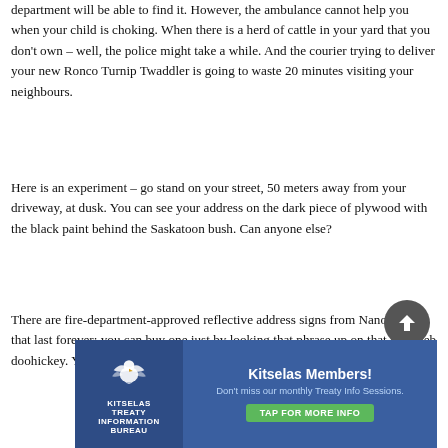department will be able to find it. However, the ambulance cannot help you when your child is choking. When there is a herd of cattle in your yard that you don't own – well, the police might take a while. And the courier trying to deliver your new Ronco Turnip Twaddler is going to waste 20 minutes visiting your neighbours.
Here is an experiment – go stand on your street, 50 meters away from your driveway, at dusk. You can see your address on the dark piece of plywood with the black paint behind the Saskatoon bush. Can anyone else?
There are fire-department-approved reflective address signs from Nanoose bay that last forever; you can buy one just by looking that phrase up on that interweb doohickey. You can
[Figure (other): Circular scroll-to-top button with upward arrow, dark grey background]
[Figure (other): Kitselas Treaty Information Bureau advertisement banner. Blue background with eagle logo on left, text 'Kitselas Members! Don't miss our monthly Treaty Info Sessions.' and green 'TAP FOR MORE INFO' button.]